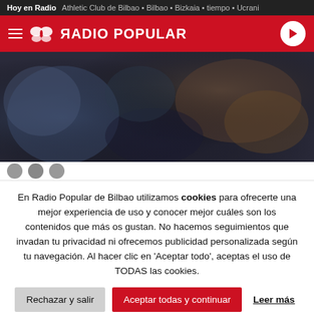Hoy en Radio • Athletic Club de Bilbao • Bilbao • Bizkaia • tiempo • Ucrani
[Figure (logo): Radio Popular red navigation bar with hamburger menu, butterfly logo, RADIO POPULAR text, and play button]
[Figure (photo): Dark blurry photo showing textured fabric or clothing in blue and brown tones]
En Radio Popular de Bilbao utilizamos cookies para ofrecerte una mejor experiencia de uso y conocer mejor cuáles son los contenidos que más os gustan. No hacemos seguimientos que invadan tu privacidad ni ofrecemos publicidad personalizada según tu navegación. Al hacer clic en 'Aceptar todo', aceptas el uso de TODAS las cookies.
Rechazar y salir | Aceptar todas y continuar | Leer más